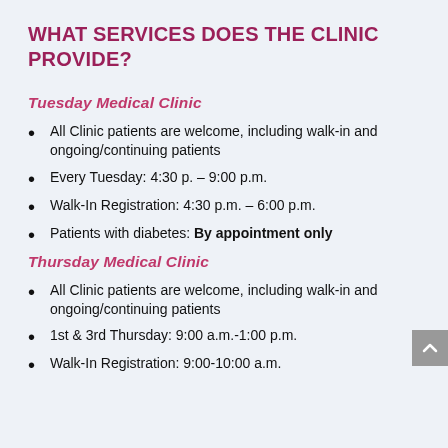WHAT SERVICES DOES THE CLINIC PROVIDE?
Tuesday Medical Clinic
All Clinic patients are welcome, including walk-in and ongoing/continuing patients
Every Tuesday: 4:30 p. – 9:00 p.m.
Walk-In Registration: 4:30 p.m. – 6:00 p.m.
Patients with diabetes: By appointment only
Thursday Medical Clinic
All Clinic patients are welcome, including walk-in and ongoing/continuing patients
1st & 3rd Thursday: 9:00 a.m.-1:00 p.m.
Walk-In Registration: 9:00-10:00 a.m.